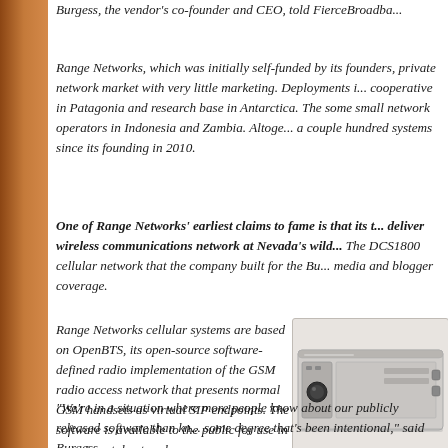Burgess, the vendor's co-founder and CEO, told FierceBroadba...
Range Networks, which was initially self-funded by its founders, private network market with very little marketing. Deployments include a cooperative in Patagonia and research base in Antarctica. The some small network operators in Indonesia and Zambia. Altogether a couple hundred systems since its founding in 2010.
One of Range Networks' earliest claims to fame is that its technology was used to deliver wireless communications network at Nevada's wild... The DCS1800 cellular network that the company built for the Bu... media and blogger coverage.
Range Networks cellular systems are based on OpenBTS, its open-source software-defined radio implementation of the GSM radio access network that presents normal GSM handsets as virtual SIP endpoints. The software is available to the public for use in experimental networks. “We’re in a situation where more people know about our publicly released software than kn... some degree that’s been intentional,” said Burgess.
[Figure (photo): A rack-mounted network device/cellular base station unit, gray metal enclosure with front panel controls and connectors, photographed against a light background.]